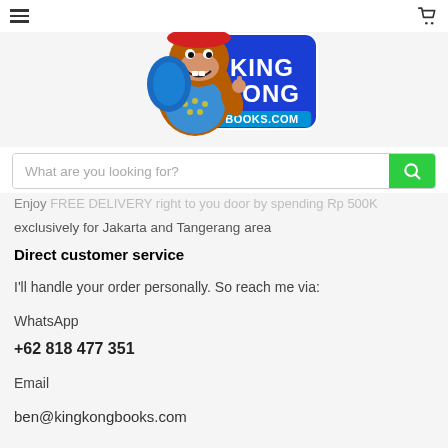[Figure (logo): King Kong Books.com logo with cartoon gorilla mascot holding a bag, blue text badge]
What are you looking for?
Enjoy FREE DELIVERY right to your door by spending Rp 500K exclusively for Jakarta and Tangerang area
Direct customer service
I'll handle your order personally. So reach me via:
WhatsApp
+62 818 477 351
Email
ben@kingkongbooks.com